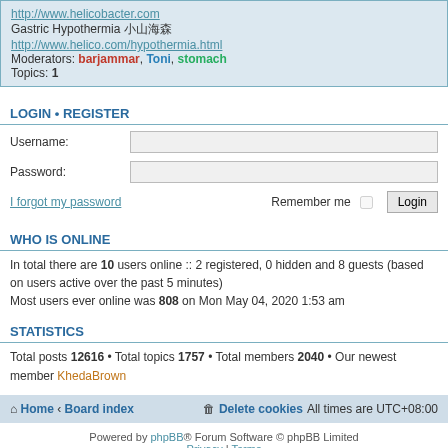http://www.helicobacter.com
Gastric Hypothermia [symbols]
http://www.helico.com/hypothermia.html
Moderators: barjammar, Toni, stomach
Topics: 1
LOGIN • REGISTER
Username:
Password:
I forgot my password  Remember me [checkbox] Login
WHO IS ONLINE
In total there are 10 users online :: 2 registered, 0 hidden and 8 guests (based on users active over the past 5 minutes)
Most users ever online was 808 on Mon May 04, 2020 1:53 am
STATISTICS
Total posts 12616 • Total topics 1757 • Total members 2040 • Our newest member KhedaBrown
Home · Board index   Delete cookies  All times are UTC+08:00
Powered by phpBB® Forum Software © phpBB Limited
Privacy | Terms